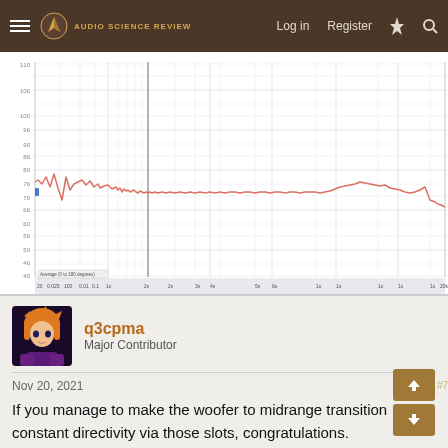Audio Science Review — Log in  Register
[Figure (continuous-plot): Frequency response chart showing a woofer/speaker measurement. The y-axis ranges from approximately 40 to 110 dB, and x-axis shows frequency from ~20 Hz to 20 kHz on a logarithmic scale. A salmon/coral colored line shows the frequency response, relatively flat around 76-78 dB from ~200 Hz to ~10 kHz, with some ripple in the low frequencies, then rolling off at very high frequencies. A vertical cursor line is visible at around 1 kHz. A small legend label reads 'Average (0 to 180 degrees)' at the bottom left.]
q3cpma
Major Contributor
Nov 20, 2021
If you manage to make the woofer to midrange transition constant directivity via those slots, congratulations.